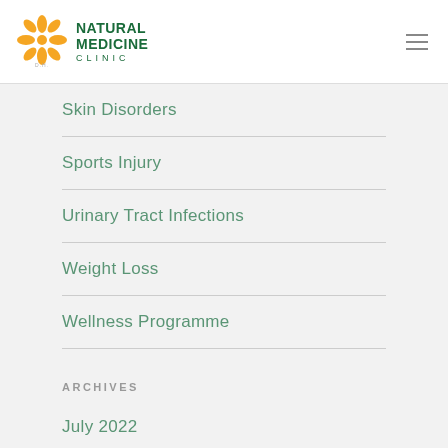[Figure (logo): Natural Medicine Clinic logo with golden flower/orchid icon and green text reading NATURAL MEDICINE CLINIC D.H.]
Skin Disorders
Sports Injury
Urinary Tract Infections
Weight Loss
Wellness Programme
ARCHIVES
July 2022
June 2022